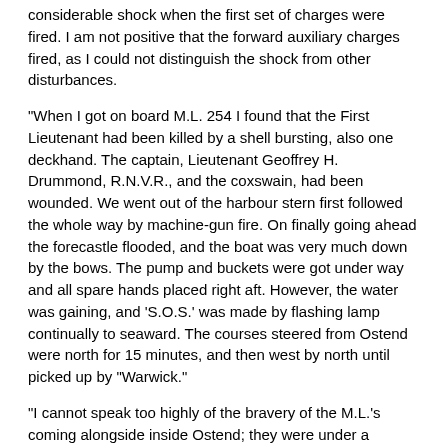considerable shock when the first set of charges were fired. I am not positive that the forward auxiliary charges fired, as I could not distinguish the shock from other disturbances.
"When I got on board M.L. 254 I found that the First Lieutenant had been killed by a shell bursting, also one deckhand. The captain, Lieutenant Geoffrey H. Drummond, R.N.V.R., and the coxswain, had been wounded. We went out of the harbour stern first followed the whole way by machine-gun fire. On finally going ahead the forecastle flooded, and the boat was very much down by the bows. The pump and buckets were got under way and all spare hands placed right aft. However, the water was gaining, and 'S.O.S.' was made by flashing lamp continually to seaward. The courses steered from Ostend were north for 15 minutes, and then west by north until picked up by "Warwick."
"I cannot speak too highly of the bravery of the M.L.'s coming alongside inside Ostend; they were under a continuous and heavy fire. M.L. 254 rescued two officers and thirty-seven men.
"The question of recommendations is a very difficult one. Every man, without exception, behaved splendidly."